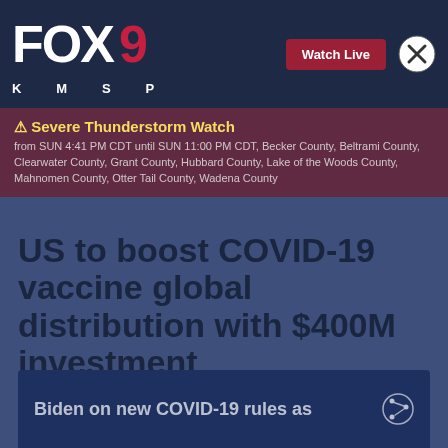FOX 9 KMSP
Severe Thunderstorm Watch from SUN 4:41 PM CDT until SUN 11:00 PM CDT, Becker County, Beltrami County, Clearwater County, Grant County, Hubbard County, Lake of the Woods County, Mahnomen County, Otter Tail County, Wadena County
US to boost COVID-19 vaccine global distribution with $400M investment
By Chris Williams | Published December 6, 2021 | Updated 2:19PM | News | FOX TV Digital Team
[Figure (screenshot): Social media sharing icons: Facebook, Twitter, Print, Email]
[Figure (screenshot): Video thumbnail with text: Biden on new COVID-19 rules as...]